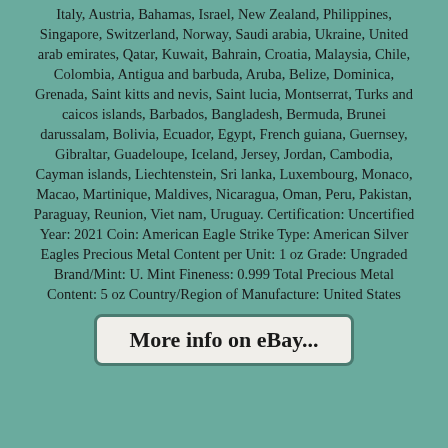Italy, Austria, Bahamas, Israel, New Zealand, Philippines, Singapore, Switzerland, Norway, Saudi arabia, Ukraine, United arab emirates, Qatar, Kuwait, Bahrain, Croatia, Malaysia, Chile, Colombia, Antigua and barbuda, Aruba, Belize, Dominica, Grenada, Saint kitts and nevis, Saint lucia, Montserrat, Turks and caicos islands, Barbados, Bangladesh, Bermuda, Brunei darussalam, Bolivia, Ecuador, Egypt, French guiana, Guernsey, Gibraltar, Guadeloupe, Iceland, Jersey, Jordan, Cambodia, Cayman islands, Liechtenstein, Sri lanka, Luxembourg, Monaco, Macao, Martinique, Maldives, Nicaragua, Oman, Peru, Pakistan, Paraguay, Reunion, Viet nam, Uruguay. Certification: Uncertified Year: 2021 Coin: American Eagle Strike Type: American Silver Eagles Precious Metal Content per Unit: 1 oz Grade: Ungraded Brand/Mint: U. Mint Fineness: 0.999 Total Precious Metal Content: 5 oz Country/Region of Manufacture: United States
More info on eBay...